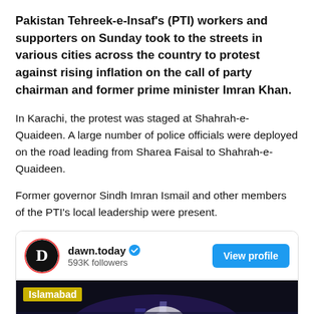Pakistan Tehreek-e-Insaf's (PTI) workers and supporters on Sunday took to the streets in various cities across the country to protest against rising inflation on the call of party chairman and former prime minister Imran Khan.
In Karachi, the protest was staged at Shahrah-e-Quaideen. A large number of police officials were deployed on the road leading from Sharea Faisal to Shahrah-e-Quaideen.
Former governor Sindh Imran Ismail and other members of the PTI's local leadership were present.
[Figure (screenshot): Embedded social media card from dawn.today with 593K followers, showing a View Profile button and a video thumbnail with 'Islamabad' text overlay on a dark night-time rally scene.]